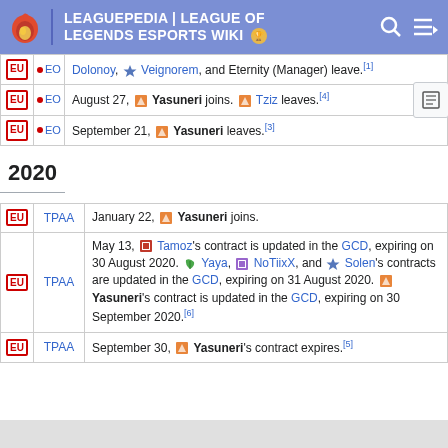LEAGUEPEDIA | LEAGUE OF LEGENDS ESPORTS WIKI
| Region | Team | Notes |
| --- | --- | --- |
| EU | EO | Dolonoy, Veignorem, and Eternity (Manager) leave.[1] |
| EU | EO | August 27, Yasuneri joins. Tziz leaves.[4] |
| EU | EO | September 21, Yasuneri leaves.[3] |
2020
| Region | Team | Notes |
| --- | --- | --- |
| EU | TPAA | January 22, Yasuneri joins. |
| EU | TPAA | May 13, Tamoz's contract is updated in the GCD, expiring on 30 August 2020. Yaya, NoTiixX, and Solen's contracts are updated in the GCD, expiring on 31 August 2020. Yasuneri's contract is updated in the GCD, expiring on 30 September 2020.[6] |
| EU | TPAA | September 30, Yasuneri's contract expires.[5] |